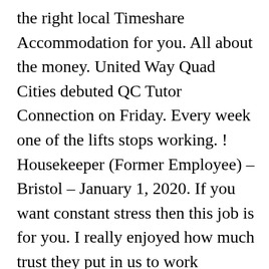the right local Timeshare Accommodation for you. All about the money. United Way Quad Cities debuted QC Tutor Connection on Friday. Every week one of the lifts stops working. ! Housekeeper (Former Employee) – Bristol – January 1, 2020. If you want constant stress then this job is for you. I really enjoyed how much trust they put in us to work independently, which made the work feel more rewarding. usually, I got to work 4 on 4 off that's nights. Unite Students and Cardiff Met' have now robbed my son of much needed money for his new accommodation. Be yourself – we want to see the real you! Running online Green Impact auditing